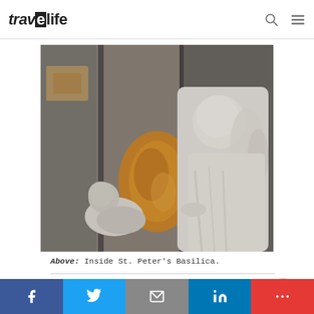travelife
[Figure (photo): Close-up photograph of marble angel/cherub sculptures inside St. Peter's Basilica, showing white marble figures with ornate golden/amber decorative elements in the background.]
Above: Inside St. Peter's Basilica.
The papal alter and the four twisted
Facebook | Twitter | Email | LinkedIn | More